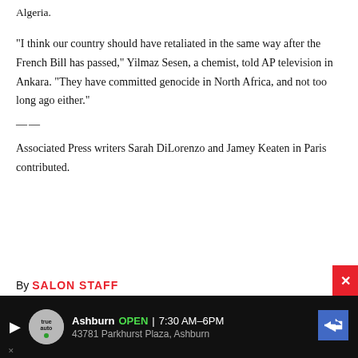Algeria.
"I think our country should have retaliated in the same way after the French Bill has passed," Yilmaz Sesen, a chemist, told AP television in Ankara. "They have committed genocide in North Africa, and not too long ago either."
___
Associated Press writers Sarah DiLorenzo and Jamey Keaten in Paris contributed.
By SALON STAFF
[Figure (infographic): Advertisement bar at bottom: dark background with auto dealership ad showing 'Ashburn OPEN 7:30AM-6PM' and '43781 Parkhurst Plaza, Ashburn' with navigation arrow icon. Close button X on right side.]